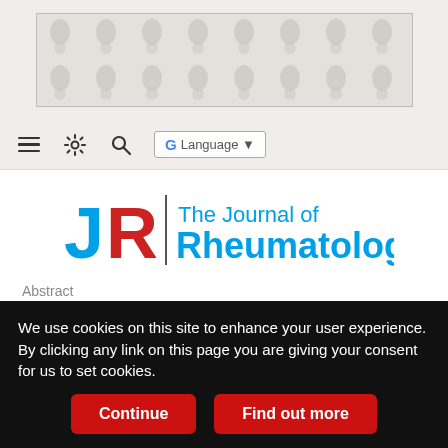[Figure (illustration): Decorative banner advertisement with repeating teardrop/petal dot pattern in grey tones]
Navigation bar with hamburger menu, settings, search icons, and Google Language button
[Figure (logo): The Journal of Rheumatology logo — stylized JR letters in red/blue with blue text 'The Journal of Rheumatology']
Abstract
A study of 75 pregnancies in patients with antiphospholipid syndrome.
R L Huong, B Wechsler, C Piette, R Verthier Brenner, S Lefebvre and ...
We use cookies on this site to enhance your user experience. By clicking any link on this page you are giving your consent for us to set cookies.